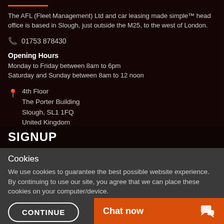The AFL (Fleet Management) Ltd and car leasing made simple™ head office is based in Slough, just outside the M25, to the west of London.
01753 878430
Opening Hours
Monday to Friday between 8am to 6pm
Saturday and Sunday between 8am to 12 noon
4th Floor
The Porter Building
Slough, SL1 1FQ
United Kingdom
SIGNUP
Cookies
We use cookies to guarantee the best possible website experience. By continuing to use our site, you agree that we can place these cookies on your computer/device.
CONTINUE
Chat now